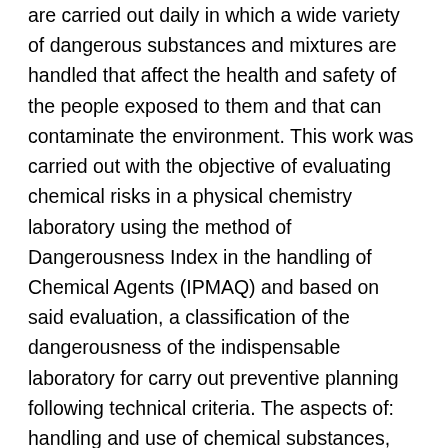are carried out daily in which a wide variety of dangerous substances and mixtures are handled that affect the health and safety of the people exposed to them and that can contaminate the environment. This work was carried out with the objective of evaluating chemical risks in a physical chemistry laboratory using the method of Dangerousness Index in the handling of Chemical Agents (IPMAQ) and based on said evaluation, a classification of the dangerousness of the indispensable laboratory for carry out preventive planning following technical criteria. The aspects of: handling and use of chemical substances, laboratory materials and equipment and activities at work were analyzed, by identifying the processes, danger factors and evaluation of the risk levels to which teachers, workers are exposed, students, administrative staff and visitors using the NTP 937 methodology of the Spanish Institute for Safety and Hygiene at Work and the IPMAQ methodology. The dangerousness index in the laboratory showed that the level of chemical containment is minimal and according to the value obtained